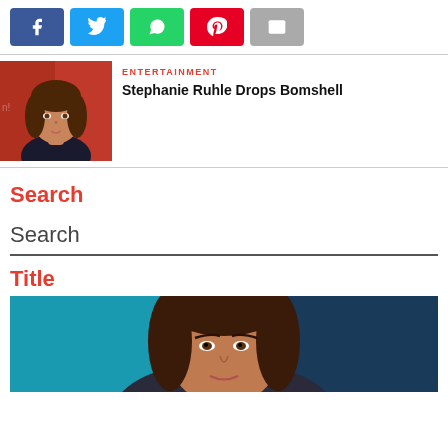[Figure (infographic): Social share button bar with Facebook (blue), Twitter (cyan), WhatsApp (green), Pinterest (red), Email (gray) buttons]
[Figure (photo): Thumbnail photo of Stephanie Ruhle, a woman with brown hair in a TV studio setting]
ENTERTAINMENT
Stephanie Ruhle Drops Bomshell
Search
Search
Title
[Figure (photo): Photo of a woman with brown hair against a teal/blue background, cropped at top of page]